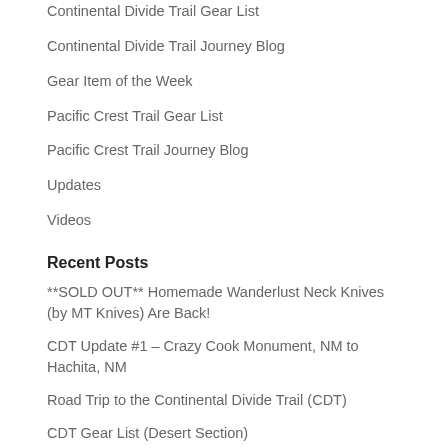Continental Divide Trail Gear List
Continental Divide Trail Journey Blog
Gear Item of the Week
Pacific Crest Trail Gear List
Pacific Crest Trail Journey Blog
Updates
Videos
Recent Posts
**SOLD OUT** Homemade Wanderlust Neck Knives (by MT Knives) Are Back!
CDT Update #1 – Crazy Cook Monument, NM to Hachita, NM
Road Trip to the Continental Divide Trail (CDT)
CDT Gear List (Desert Section)
Where To Send a Resupply Box on the PCT?